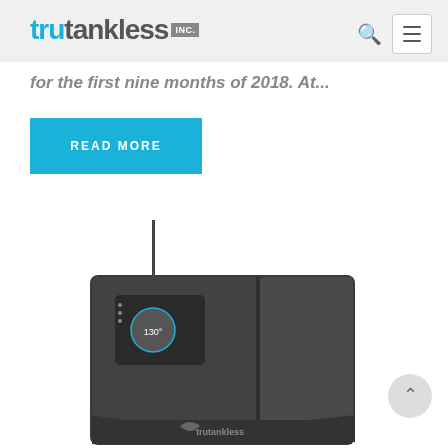trutankless INC.
for the first nine months of 2018. At...
READ MORE
[Figure (photo): A trutankless tankless water heater unit, dark grey/black colored, with a small display panel and antenna visible on the front, with the trutankless logo at the bottom.]